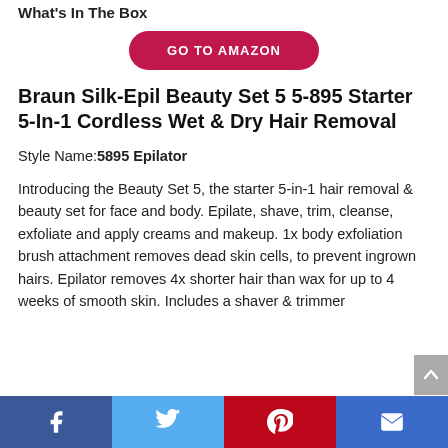What's In The Box
[Figure (other): GO TO AMAZON button - red pill-shaped button]
Braun Silk-Epil Beauty Set 5 5-895 Starter 5-In-1 Cordless Wet & Dry Hair Removal
Style Name: 5895 Epilator
Introducing the Beauty Set 5, the starter 5-in-1 hair removal & beauty set for face and body. Epilate, shave, trim, cleanse, exfoliate and apply creams and makeup. 1x body exfoliation brush attachment removes dead skin cells, to prevent ingrown hairs. Epilator removes 4x shorter hair than wax for up to 4 weeks of smooth skin. Includes a shaver & trimmer
[Figure (other): Social share bar with Facebook, Twitter, Pinterest, and email icons]